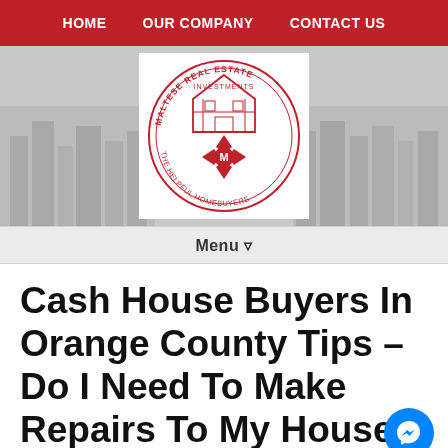HOME  OUR COMPANY  CONTACT US
[Figure (logo): Maltese Real Estate Investments logo — circular badge with house illustration and text 'MALTESE REAL ESTATE INVESTMENTS' and 'THE HELPFUL HOMEBUYERS', red Maltese cross with M in center]
Menu ▾
Cash House Buyers In Orange County Tips – Do I Need To Make Repairs To My House?